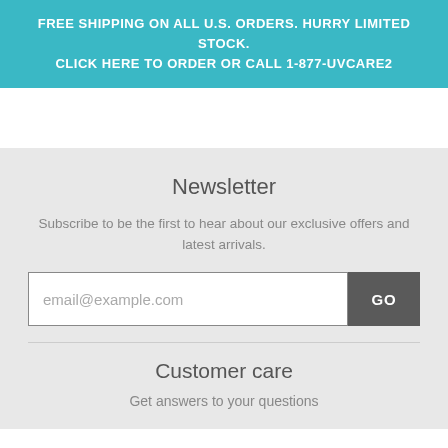FREE SHIPPING ON ALL U.S. ORDERS. HURRY LIMITED STOCK. CLICK HERE TO ORDER OR CALL 1-877-UVCARE2
Newsletter
Subscribe to be the first to hear about our exclusive offers and latest arrivals.
Customer care
Get answers to your questions